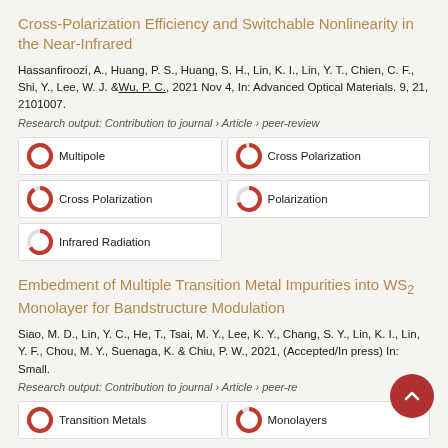Cross-Polarization Efficiency and Switchable Nonlinearity in the Near-Infrared
Hassanfiroozi, A., Huang, P. S., Huang, S. H., Lin, K. I., Lin, Y. T., Chien, C. F., Shi, Y., Lee, W. J. & Wu, P. C., 2021 Nov 4, In: Advanced Optical Materials. 9, 21, 2101007.
Research output: Contribution to journal › Article › peer-review
Multipole
Cross Polarization
Cross Polarization
Polarization
Infrared Radiation
Embedment of Multiple Transition Metal Impurities into WS₂ Monolayer for Bandstructure Modulation
Siao, M. D., Lin, Y. C., He, T., Tsai, M. Y., Lee, K. Y., Chang, S. Y., Lin, K. I., Lin, Y. F., Chou, M. Y., Suenaga, K. & Chiu, P. W., 2021, (Accepted/In press) In: Small.
Research output: Contribution to journal › Article › peer-review
Transition Metals
Monolayers